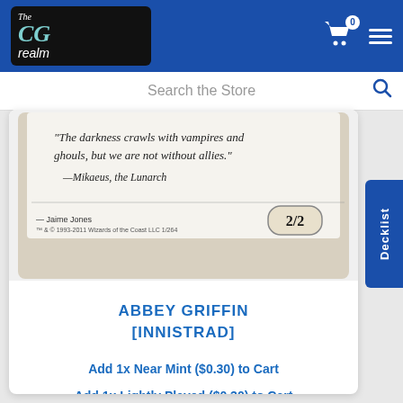The CG Realm
Search the Store
[Figure (photo): Magic: The Gathering card - Abbey Griffin from Innistrad set, showing bottom portion of card with flavor text and 2/2 power/toughness]
ABBEY GRIFFIN
[INNISTRAD]
Add 1x Near Mint ($0.30) to Cart
Add 1x Lightly Played ($0.30) to Cart
Add 1x Moderately Played Foil ($0.50) to Cart